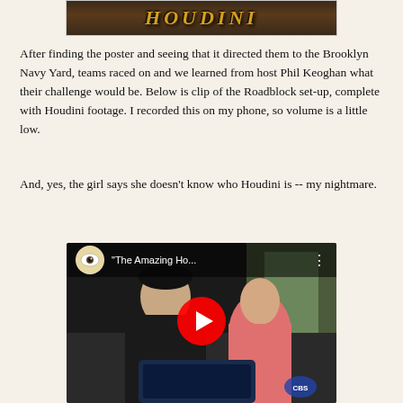[Figure (photo): Houdini banner/poster with stylized gold text on dark background]
After finding the poster and seeing that it directed them to the Brooklyn Navy Yard, teams raced on and we learned from host Phil Keoghan what their challenge would be. Below is clip of the Roadblock set-up, complete with Houdini footage. I recorded this on my phone, so volume is a little low.
And, yes, the girl says she doesn't know who Houdini is -- my nightmare.
[Figure (screenshot): YouTube video embed showing two people in a vehicle, with a YouTube play button overlay and title 'The Amazing Ho...']